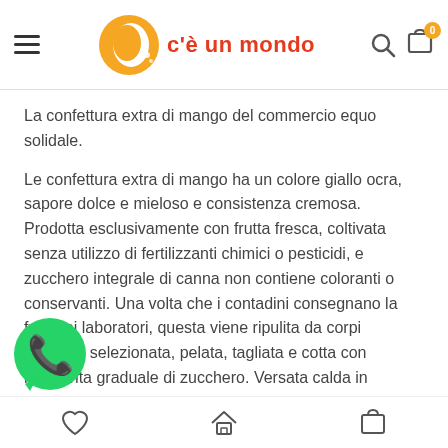c'è un mondo
La confettura extra di mango del commercio equo solidale.
Le confettura extra di mango ha un colore giallo ocra, sapore dolce e mieloso e consistenza cremosa. Prodotta esclusivamente con frutta fresca, coltivata senza utilizzo di fertilizzanti chimici o pesticidi, e zucchero integrale di canna non contiene coloranti o conservanti. Una volta che i contadini consegnano la frutta ai laboratori, questa viene ripulita da corpi estranei, selezionata, pelata, tagliata e cotta con l'aggiunta graduale di zucchero. Versata calda in sterilizzati, viene poi fatta raffreddare fin tanto che i vasetti non saranno pronti per essere etichettati
navigation icons: heart, home, cart